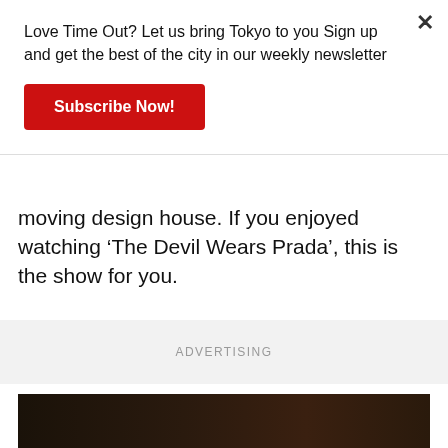Love Time Out? Let us bring Tokyo to you Sign up and get the best of the city in our weekly newsletter
Subscribe Now!
moving design house. If you enjoyed watching ‘The Devil Wears Prada’, this is the show for you.
ADVERTISING
[Figure (photo): Dark photo showing a person with dark hair, partially visible at bottom of page]